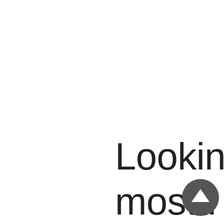Looking at the most . traditional form of PR, we then come onto. publications in outlets such as
[Figure (other): A circular dark grey button with an upward-pointing white arrow icon, used as a scroll-to-top navigation button.]